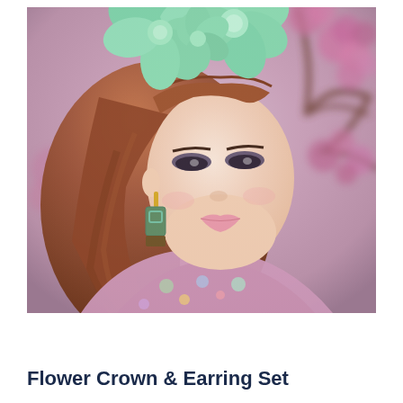[Figure (photo): A young woman with long auburn/red hair wearing a large mint green flower crown headpiece and decorative teal/gold earrings. She wears a pastel multicolored garment. Background shows blurred pink magnolia blossoms and branches. She looks over her shoulder toward the camera with dramatic eye makeup.]
Flower Crown & Earring Set